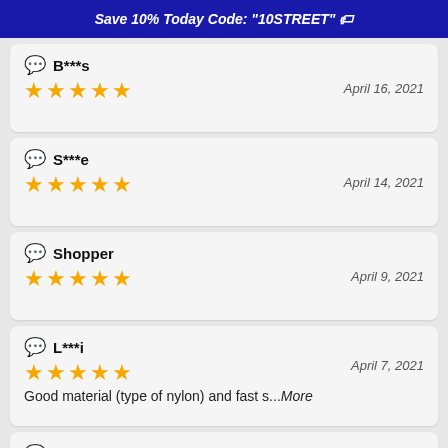Save 10% Today Code: "10STREET" 🏷
B***s — April 16, 2021 — 5 stars
S***e — April 14, 2021 — 5 stars
Shopper — April 9, 2021 — 5 stars
L***i — April 7, 2021 — 5 stars — Good material (type of nylon) and fast s...More
A*** — (partial, cut off)